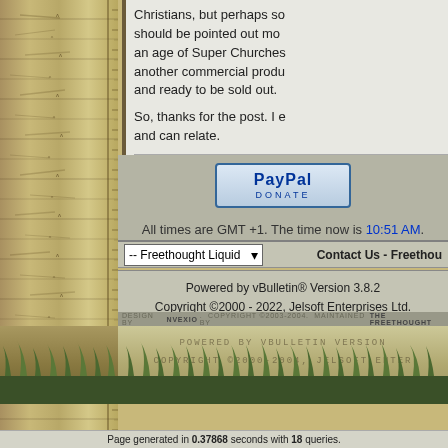Christians, but perhaps so should be pointed out mo an age of Super Churches another commercial produ and ready to be sold out.
So, thanks for the post. I e and can relate.
Posted 03-08-2011 at 03:49 PM
[Figure (logo): PayPal Donate button]
All times are GMT +1. The time now is 10:51 AM.
-- Freethought Liquid   Contact Us - Freethou
Powered by vBulletin® Version 3.8.2
Copyright ©2000 - 2022, Jelsoft Enterprises Ltd.
DESIGN BY NVEXIO. COPYRIGHT ©2003-2004. MAINTAINED BY THE FREETHOUGHT
[Figure (illustration): Decorative bottom banner with POWERED BY VBULLETIN VERSION and COPYRIGHT text over a grass/nature illustration]
Page generated in 0.37868 seconds with 18 queries.